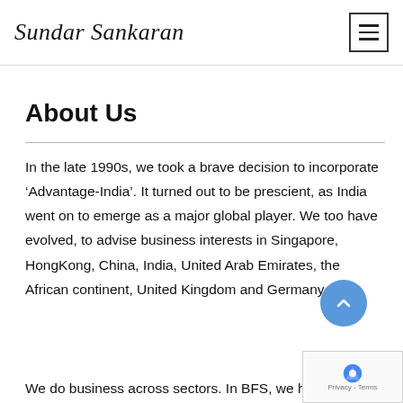Sundar Sankaran
About Us
In the late 1990s, we took a brave decision to incorporate ‘Advantage-India’. It turned out to be prescient, as India went on to emerge as a major global player. We too have evolved, to advise business interests in Singapore, HongKong, China, India, United Arab Emirates, the African continent, United Kingdom and Germany.
We do business across sectors. In BFS, we have